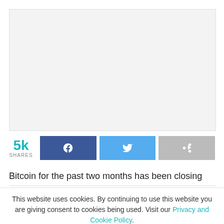[Figure (other): Large rectangular image placeholder with light gray background]
5k SHARES
[Figure (other): Facebook share button (dark blue with f icon), Twitter share button (light blue with bird icon), Share button (gray with arrow icon)]
Bitcoin for the past two months has been closing
This website uses cookies. By continuing to use this website you are giving consent to cookies being used. Visit our Privacy and Cookie Policy.
I Agree